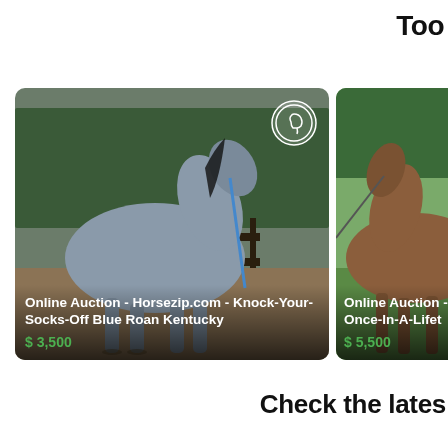Too
[Figure (photo): Gray/blue roan horse being led on a lead rope in an outdoor paddock with wooden fence and trees in background. Logo badge in top right corner.]
Online Auction - Horsezip.com - Knock-Your-Socks-Off Blue Roan Kentucky
$ 3,500
[Figure (photo): Brown horse being led on a lead rope in a green field with trees in background. Partially visible card.]
Online Auction - Once-In-A-Lifet
$ 5,500
Check the lates